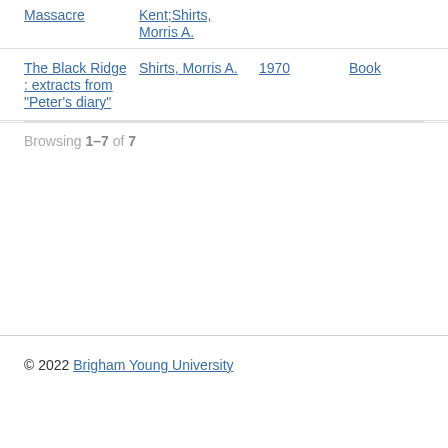Massacre | Kent;Shirts, Morris A.
The Black Ridge : extracts from "Peter's diary" | Shirts, Morris A. | 1970 | Book
Browsing 1–7 of 7
© 2022 Brigham Young University